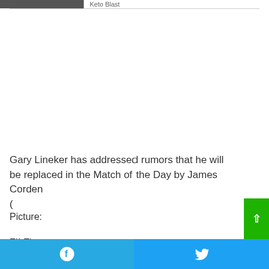[Figure (photo): Partial view of a person's photo at top left, cropped]
Keto Blast
Gary Lineker has addressed rumors that he will be replaced in the Match of the Day by James Corden
(

Picture:

FILE)